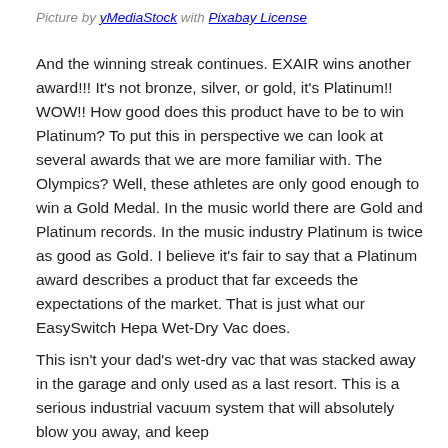Picture by yMediaStock with Pixabay License
And the winning streak continues. EXAIR wins another award!!! It’s not bronze, silver, or gold, it’s Platinum!! WOW!! How good does this product have to be to win Platinum? To put this in perspective we can look at several awards that we are more familiar with. The Olympics? Well, these athletes are only good enough to win a Gold Medal. In the music world there are Gold and Platinum records. In the music industry Platinum is twice as good as Gold. I believe it’s fair to say that a Platinum award describes a product that far exceeds the expectations of the market. That is just what our EasySwitch Hepa Wet-Dry Vac does.
This isn’t your dad’s wet-dry vac that was stacked away in the garage and only used as a last resort. This is a serious industrial vacuum system that will absolutely blow you away, and keep